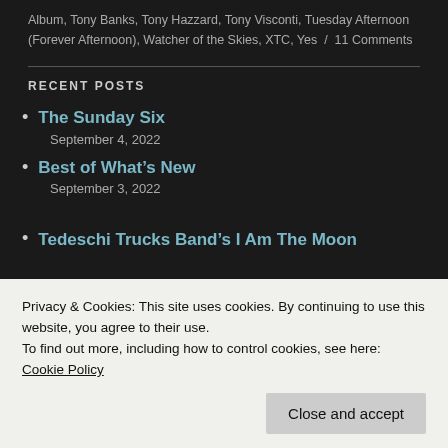Album, Tony Banks, Tony Hazzard, Tony Visconti, Tuesday Afternoon (Forever Afternoon), Watcher of the Skies, XTC, Yes / 11 Comments
RECENT POSTS
The Sunday Six
September 4, 2022
Best of What's New
September 3, 2022
Tedeschi Trucks Band's I Am The Moon
Privacy & Cookies: This site uses cookies. By continuing to use this website, you agree to their use.
To find out more, including how to control cookies, see here:
Cookie Policy